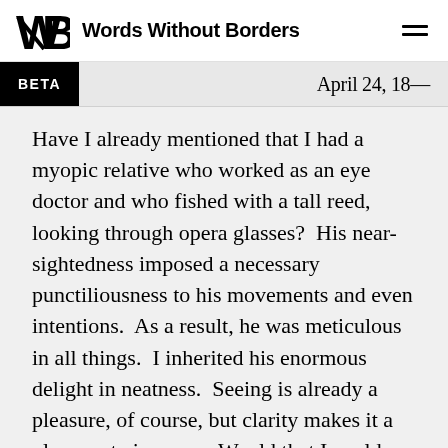Words Without Borders
BETA
April 24, 18—
Have I already mentioned that I had a myopic relative who worked as an eye doctor and who fished with a tall reed, looking through opera glasses?  His near-sightedness imposed a necessary punctiliousness to his movements and even intentions.  As a result, he was meticulous in all things.  I inherited his enormous delight in neatness.  Seeing is already a pleasure, of course, but clarity makes it a pleasure twice over.  Would that I could use microscope lenses as my spectacles.  Winter always enticed me to the windows of